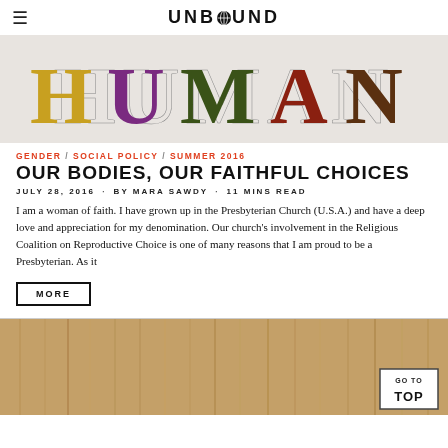UNBOUND
[Figure (photo): Close-up photo showing the word HUMAN spelled out in colorful embroidered or appliquéd letters on a white background, with various dark textile patterns.]
GENDER / SOCIAL POLICY / SUMMER 2016
OUR BODIES, OUR FAITHFUL CHOICES
JULY 28, 2016 · BY MARA SAWDY · 11 MINS READ
I am a woman of faith. I have grown up in the Presbyterian Church (U.S.A.) and have a deep love and appreciation for my denomination. Our church's involvement in the Religious Coalition on Reproductive Choice is one of many reasons that I am proud to be a Presbyterian. As it
MORE
[Figure (photo): Photo of wooden planks or fence boards with a 'GO TO TOP' button overlay in the bottom right corner.]